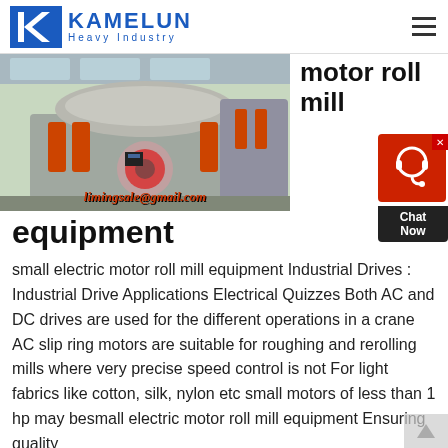[Figure (logo): Kamelun Heavy Industry logo with blue K arrow icon and blue text]
[Figure (photo): Industrial cone crusher / roll mill machine on display floor with orange hydraulic cylinders, email watermark limingsale@gmail.com]
motor roll mill
equipment
small electric motor roll mill equipment Industrial Drives : Industrial Drive Applications Electrical Quizzes Both AC and DC drives are used for the different operations in a crane AC slip ring motors are suitable for roughing and rerolling mills where very precise speed control is not For light fabrics like cotton, silk, nylon etc small motors of less than 1 hp may besmall electric motor roll mill equipment Ensuring quality